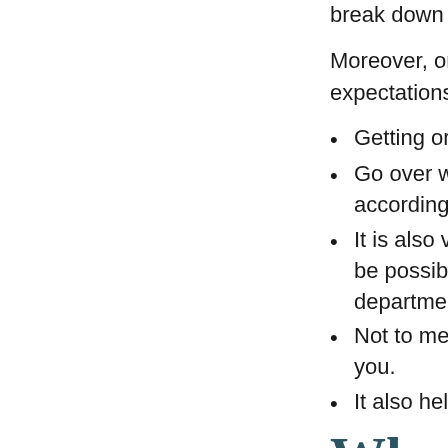break down the analys…
Moreover, one of the in… expectations regarding…
Getting organized early…
Go over weighty and ap… according to the require…
It is also very pivotal to… be possible use. Tackle… department.
Not to mention, it make… you.
It also helps to initiate n…
What othe…
Even though it may app… absolutely prohibited. C… whom you would prefer…
Likewise, if you have a… assist students with the… your ideas with her or h…